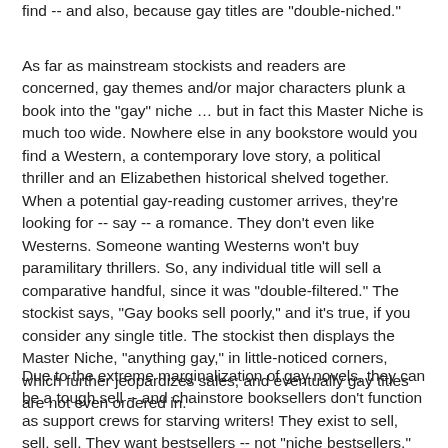find -- and also, because gay titles are "double-niched."
As far as mainstream stockists and readers are concerned, gay themes and/or major characters plunk a book into the “gay” niche … but in fact this Master Niche is much too wide. Nowhere else in any bookstore would you find a Western, a contemporary love story, a political thriller and an Elizabethen historical shelved together. When a potential gay-reading customer arrives, they’re looking for -- say -- a romance. They don’t even like Westerns. Someone wanting Westerns won’t buy paramilitary thrillers. So, any individual title will sell a comparative handful, since it was “double-filtered.” The stockist says, “Gay books sell poorly,” and it’s true, if you consider any single title. The stockist then displays the Master Niche, “anything gay,” in little-noticed corners, which further jeopardizes sales; and eventually gay titles are not even ordered in.
Due to the extreme marginalization of gay novels, they can be a tough sell -- and chainstore booksellers don’t function as support crews for starving writers! They exist to sell, sell, sell. They want bestsellers -- not “niche bestsellers,” but real